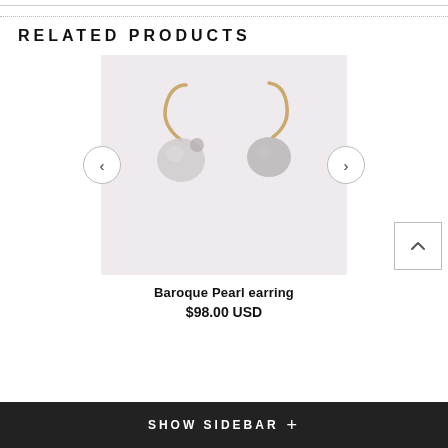RELATED PRODUCTS
[Figure (photo): Photo of two Baroque Pearl earrings with gold hooks on a light pink/white background. Navigation arrows (< and >) on either side.]
Baroque Pearl earring
$98.00 USD
SHOW SIDEBAR +